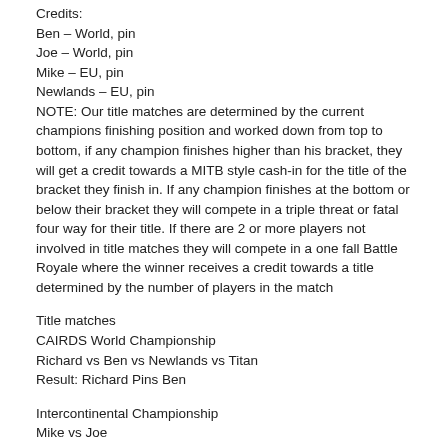Credits:
Ben – World, pin
Joe – World, pin
Mike – EU, pin
Newlands – EU, pin
NOTE: Our title matches are determined by the current champions finishing position and worked down from top to bottom, if any champion finishes higher than his bracket, they will get a credit towards a MITB style cash-in for the title of the bracket they finish in. If any champion finishes at the bottom or below their bracket they will compete in a triple threat or fatal four way for their title. If there are 2 or more players not involved in title matches they will compete in a one fall Battle Royale where the winner receives a credit towards a title determined by the number of players in the match
Title matches
CAIRDS World Championship
Richard vs Ben vs Newlands vs Titan
Result: Richard Pins Ben
Intercontinental Championship
Mike vs Joe
Result Joe pins Mike